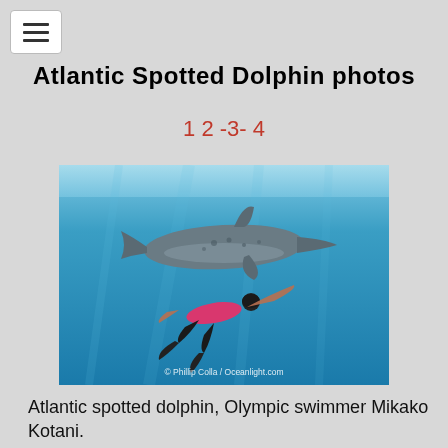[Figure (other): Hamburger menu icon button in white box with border]
Atlantic Spotted Dolphin photos
1 2 -3- 4
[Figure (photo): Underwater photo of an Atlantic spotted dolphin swimming alongside a person in a pink swimsuit (Olympic swimmer Mikako Kotani). Watermark: © Phillip Colla / Oceanlight.com]
Atlantic spotted dolphin, Olympic swimmer Mikako Kotani.